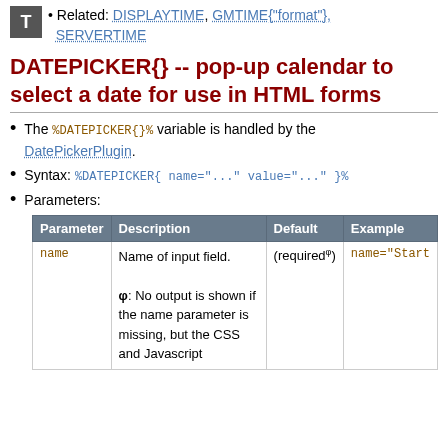Related: DISPLAYTIME, GMTIME{"format"}, SERVERTIME
DATEPICKER{} -- pop-up calendar to select a date for use in HTML forms
The %DATEPICKER{}% variable is handled by the DatePickerPlugin.
Syntax: %DATEPICKER{ name="..." value="..." }%
Parameters:
| Parameter | Description | Default | Example |
| --- | --- | --- | --- |
| name | Name of input field. φ: No output is shown if the name parameter is missing, but the CSS and Javascript | (requiredφ) | name="Start |